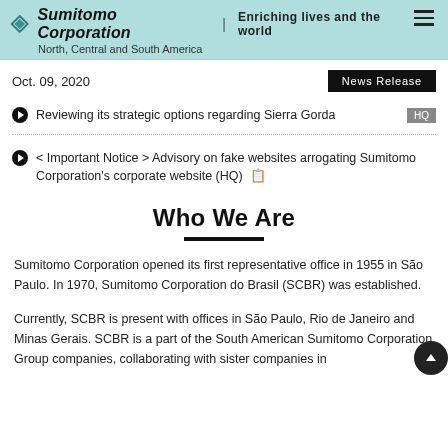Sumitomo Corporation | Enriching lives and the world
North, Central and South America
Oct. 09, 2020
News Release
Reviewing its strategic options regarding Sierra Gorda  HQ
< Important Notice > Advisory on fake websites arrogating Sumitomo Corporation's corporate website (HQ)
Who We Are
Sumitomo Corporation opened its first representative office in 1955 in São Paulo. In 1970, Sumitomo Corporation do Brasil (SCBR) was established.
Currently, SCBR is present with offices in São Paulo, Rio de Janeiro and Minas Gerais. SCBR is a part of the South American Sumitomo Corporation Group companies, collaborating with sister companies in